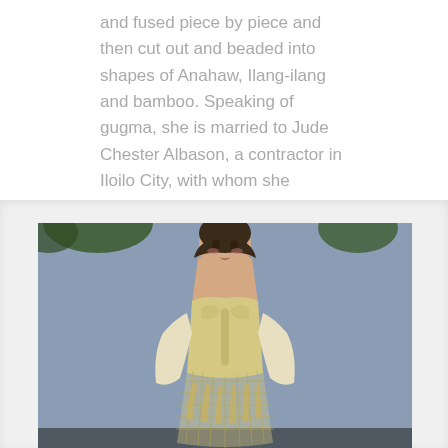and fused piece by piece and then cut out and beaded into shapes of Anahaw, Ilang-ilang and bamboo. Speaking of gugma, she is married to Jude Chester Albason, a contractor in Iloilo City, with whom she
[Figure (photo): A fashion model on a runway wearing a cream/gold structured strapless bodice gown with a net/mesh skirt and long gloves, photographed against a grey-blue background with some foliage visible at top.]